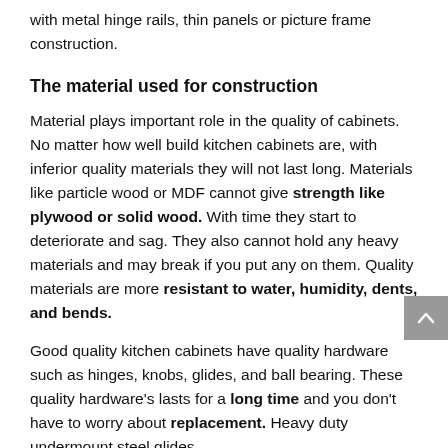with metal hinge rails, thin panels or picture frame construction.
The material used for construction
Material plays important role in the quality of cabinets. No matter how well build kitchen cabinets are, with inferior quality materials they will not last long. Materials like particle wood or MDF cannot give strength like plywood or solid wood. With time they start to deteriorate and sag. They also cannot hold any heavy materials and may break if you put any on them. Quality materials are more resistant to water, humidity, dents, and bends.
Good quality kitchen cabinets have quality hardware such as hinges, knobs, glides, and ball bearing. These quality hardware's lasts for a long time and you don't have to worry about replacement. Heavy duty undermount steel glides